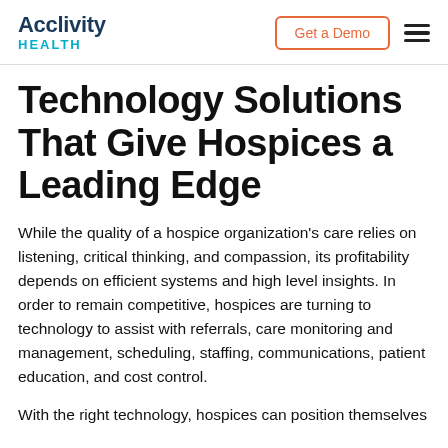Acclivity HEALTH | Get a Demo
Technology Solutions That Give Hospices a Leading Edge
While the quality of a hospice organization's care relies on listening, critical thinking, and compassion, its profitability depends on efficient systems and high level insights. In order to remain competitive, hospices are turning to technology to assist with referrals, care monitoring and management, scheduling, staffing, communications, patient education, and cost control.
With the right technology, hospices can position themselves